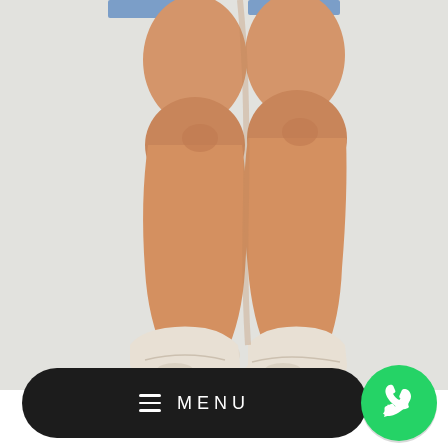[Figure (photo): Close-up photo of a person's legs from the knees down, wearing denim shorts (partially visible at top) and white sneakers, standing against a light gray/white background. The legs show muscular calves.]
[Figure (other): Dark pill-shaped menu button with hamburger icon and 'MENU' text in white letters]
[Figure (other): WhatsApp circular green logo button in the bottom right corner]